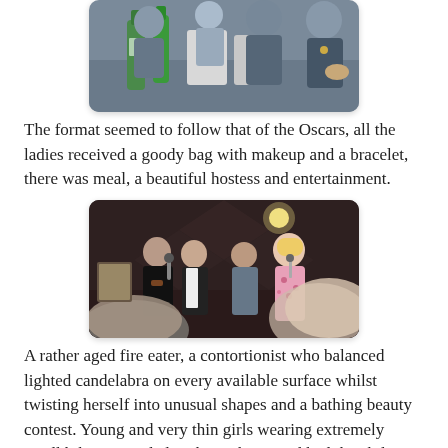[Figure (photo): People seated at a table with green water bottles, having a meal or meeting, taken at an event or restaurant.]
The format seemed to follow that of the Oscars, all the ladies received a goody bag with makeup and a bracelet, there was meal, a beautiful hostess and entertainment.
[Figure (photo): Four people standing on a stage or performance area, three men and a woman in a pink floral dress holding a microphone, in a dimly lit venue.]
A rather aged fire eater, a contortionist who balanced lighted candelabra on every available surface whilst twisting herself into unusual shapes and a bathing beauty contest. Young and very thin girls wearing extremely small bikinis paraded in the night air and had the ability to twist into columns, they are accompanied during